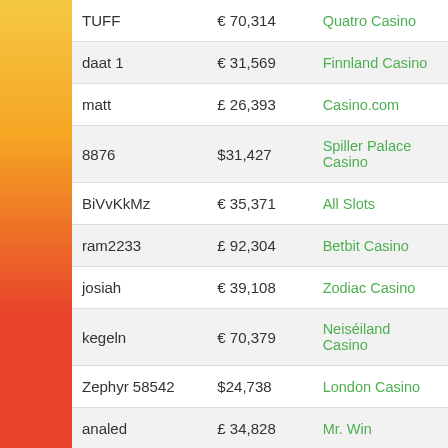| Username | Amount | Casino |
| --- | --- | --- |
| TUFF | € 70,314 | Quatro Casino |
| daat 1 | € 31,569 | Finnland Casino |
| matt | £ 26,393 | Casino.com |
| 8876 | $31,427 | Spiller Palace Casino |
| BiVvKkMz | € 35,371 | All Slots |
| ram2233 | £ 92,304 | Betbit Casino |
| josiah | € 39,108 | Zodiac Casino |
| kegeln | € 70,379 | Neiséiland Casino |
| Zephyr 58542 | $24,738 | London Casino |
| analed | £ 34,828 | Mr. Win |